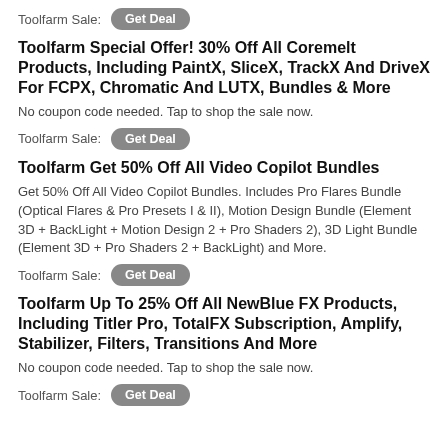Toolfarm Sale:  Get Deal
Toolfarm Special Offer! 30% Off All Coremelt Products, Including PaintX, SliceX, TrackX And DriveX For FCPX, Chromatic And LUTX, Bundles & More
No coupon code needed. Tap to shop the sale now.
Toolfarm Sale:  Get Deal
Toolfarm Get 50% Off All Video Copilot Bundles
Get 50% Off All Video Copilot Bundles. Includes Pro Flares Bundle (Optical Flares & Pro Presets I & II), Motion Design Bundle (Element 3D + BackLight + Motion Design 2 + Pro Shaders 2), 3D Light Bundle (Element 3D + Pro Shaders 2 + BackLight) and More.
Toolfarm Sale:  Get Deal
Toolfarm Up To 25% Off All NewBlue FX Products, Including Titler Pro, TotalFX Subscription, Amplify, Stabilizer, Filters, Transitions And More
No coupon code needed. Tap to shop the sale now.
Toolfarm Sale:  Get Deal